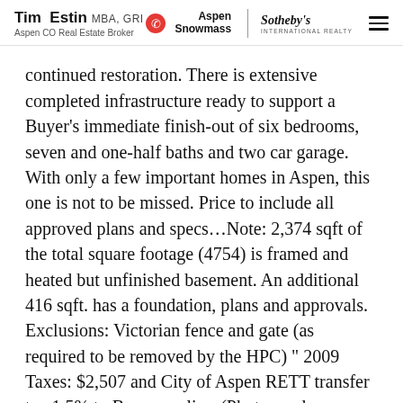Tim Estin MBA, GRI | Aspen CO Real Estate Broker | Aspen Snowmass | Sotheby's International Realty
continued restoration. There is extensive completed infrastructure ready to support a Buyer's immediate finish-out of six bedrooms, seven and one-half baths and two car garage. With only a few important homes in Aspen, this one is not to be missed. Price to include all approved plans and specs...Note: 2,374 sqft of the total square footage (4754) is framed and heated but unfinished basement. An additional 416 sqft. has a foundation, plans and approvals. Exclusions: Victorian fence and gate (as required to be removed by the HPC) " 2009 Taxes: $2,507 and City of Aspen RETT transfer tax 1.5% to Buyer applies. (Photos and description courtesy of Mason Morse Real Estate).